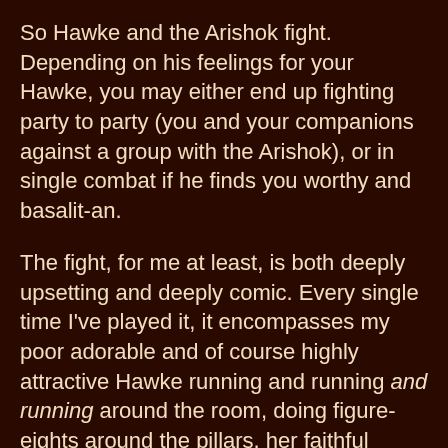So Hawke and the Arishok fight. Depending on his feelings for your Hawke, you may either end up fighting party to party (you and your companions against a group with the Arishok), or in single combat if he finds you worthy and basalit-an.
The fight, for me at least, is both deeply upsetting and deeply comic. Every single time I've played it, it encompasses my poor adorable and of course highly attractive Hawke running and running and running around the room, doing figure-eights around the pillars, her faithful hound nipping at the Arishok's delectable hindquarters, while shrieking "I JUST WANTED A DATE! A NICE DINNER! A CHANCE AT A RELATIONSHIP! WE COULD HAVE HAD SOMETHING BEAUTIFUL!"
The stupid freaking gorgeous Arishok, being stubborn and idiotic as noted, I am sorry to say, does